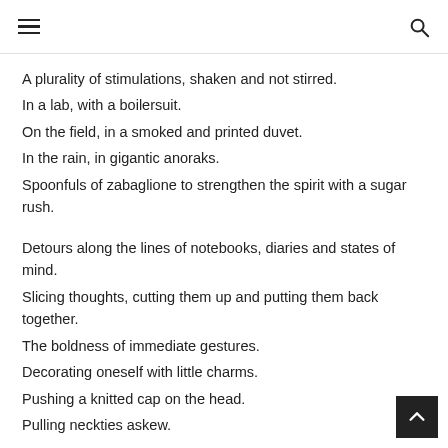≡ [hamburger menu] [search icon]
A plurality of stimulations, shaken and not stirred.
In a lab, with a boilersuit.
On the field, in a smoked and printed duvet.
In the rain, in gigantic anoraks.
Spoonfuls of zabaglione to strengthen the spirit with a sugar rush.
Detours along the lines of notebooks, diaries and states of mind.
Slicing thoughts, cutting them up and putting them back together.
The boldness of immediate gestures.
Decorating oneself with little charms.
Pushing a knitted cap on the head.
Pulling neckties askew.